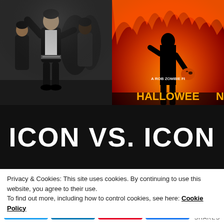[Figure (photo): Left photo: group of people in leather jackets and dark outfits, appearing to be from a movie or music video scene with energetic poses]
[Figure (photo): Right image: Halloween movie poster by Rob Zombie, showing a silhouette of a figure against a fiery orange/red background with 'HALLOWEEN' text and 'A ROB ZOMBIE FI...' tagline]
ICON VS. ICON
Privacy & Cookies: This site uses cookies. By continuing to use this website, you agree to their use.
To find out more, including how to control cookies, see here: Cookie Policy
0 SHARES